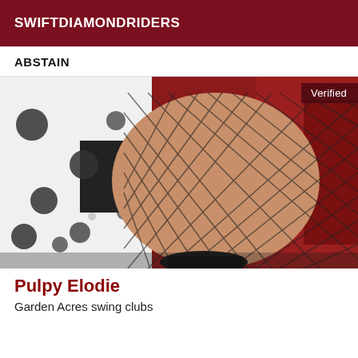SWIFTDIAMONDRIDERS
ABSTAIN
[Figure (photo): Close-up photo of a person's leg wearing fishnet stockings and a polka-dot dress, seated in a red chair. A 'Verified' badge appears in the top right corner of the image.]
Pulpy Elodie
Garden Acres swing clubs